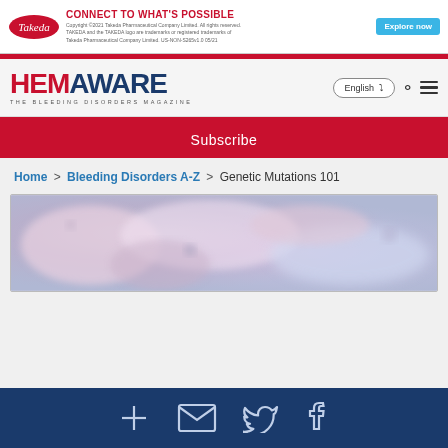[Figure (other): Takeda pharmaceutical advertisement banner with red headline 'CONNECT TO WHAT'S POSSIBLE', Takeda logo, copyright text, and 'Explore now' button]
[Figure (logo): HemAware - The Bleeding Disorders Magazine logo with navigation controls including English language selector, search icon, and hamburger menu]
Subscribe
Home > Bleeding Disorders A-Z > Genetic Mutations 101
[Figure (photo): Blurred abstract close-up photo with pinkish-purple and blue tones, appears to be a macro shot of biological or floral subject matter]
[Figure (other): Dark navy bottom toolbar with social/sharing icons: plus sign, envelope/email, Twitter bird, Facebook logo]